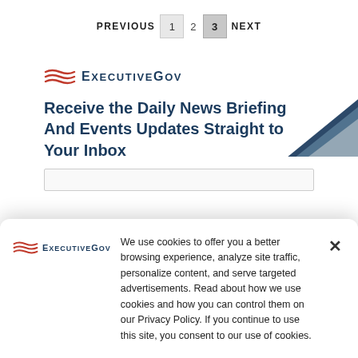PREVIOUS  1  2  3  NEXT
[Figure (logo): ExecutiveGov logo with red wave lines and dark blue text 'EXECUTIVEGOV']
Receive the Daily News Briefing And Events Updates Straight to Your Inbox
We use cookies to offer you a better browsing experience, analyze site traffic, personalize content, and serve targeted advertisements. Read about how we use cookies and how you can control them on our Privacy Policy. If you continue to use this site, you consent to our use of cookies.